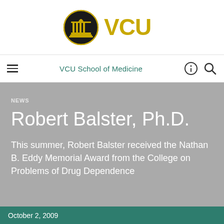[Figure (logo): VCU logo — black circle with building/columns icon on left, large gold 'VCU' text on right]
VCU School of Medicine
NEWS
Robert Balster, Ph.D.
This summer, Robert Balster received the Nathan B. Eddy Memorial Award from the College on Problems of Drug Dependence
October 2, 2009